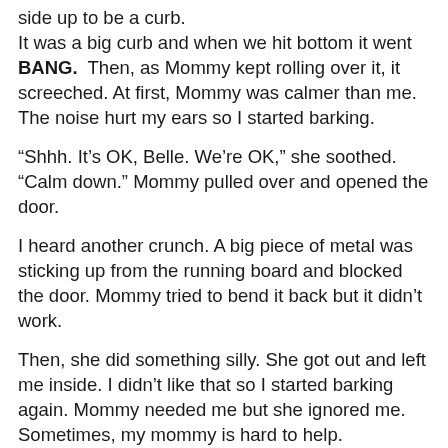side up to be a curb. It was a big curb and when we hit bottom it went BANG. Then, as Mommy kept rolling over it, it screeched. At first, Mommy was calmer than me. The noise hurt my ears so I started barking.
“Shhh. It’s OK, Belle. We’re OK,” she soothed. “Calm down.” Mommy pulled over and opened the door.
I heard another crunch. A big piece of metal was sticking up from the running board and blocked the door. Mommy tried to bend it back but it didn’t work.
Then, she did something silly. She got out and left me inside. I didn’t like that so I started barking again. Mommy needed me but she ignored me. Sometimes, my mommy is hard to help.
It was bad. The hose we use for dumping nasty water was hanging behind Hallelujah like a tail. When